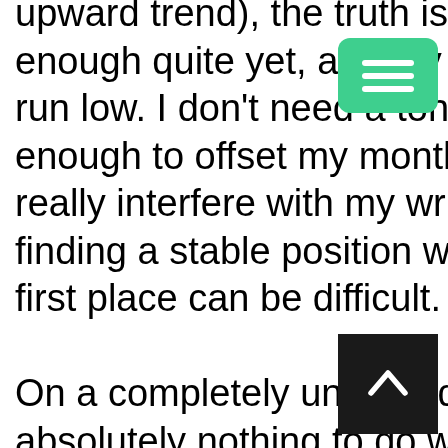upward trend), the truth is that it simply isn't enough quite yet, and my funds are starting to run low. I don't need a ton of extra money, just enough to offset my monthly bills, so it won't really interfere with my writing too much, but finding a stable position with limited hours in the first place can be difficult.
On a completely unrelated note that has absolutely nothing to do with the previous paragraph,